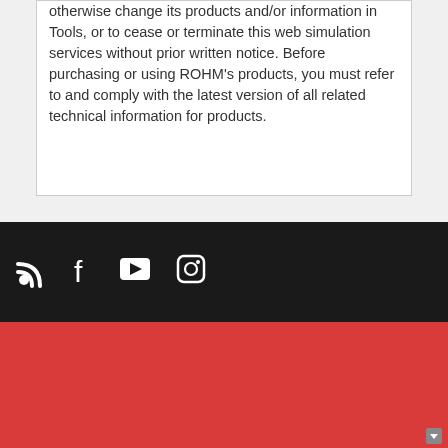otherwise change its products and/or information in Tools, or to cease or terminate this web simulation services without prior written notice. Before purchasing or using ROHM's products, you must refer to and comply with the latest version of all related technical information for products.
[Figure (infographic): Social media icons on dark background: RSS feed icon, Facebook icon, YouTube play button icon, Instagram camera icon]
このサイトはCookieを
お客様のウェブサイトとの接続を向上するためCookieを
当社のCookieの使用及びお客様の選択に関する詳細
同意して閉じる